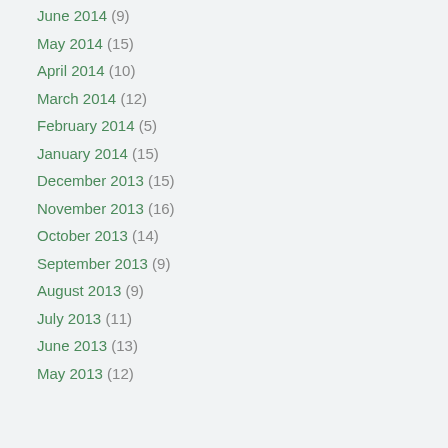June 2014 (9)
May 2014 (15)
April 2014 (10)
March 2014 (12)
February 2014 (5)
January 2014 (15)
December 2013 (15)
November 2013 (16)
October 2013 (14)
September 2013 (9)
August 2013 (9)
July 2013 (11)
June 2013 (13)
May 2013 (12)